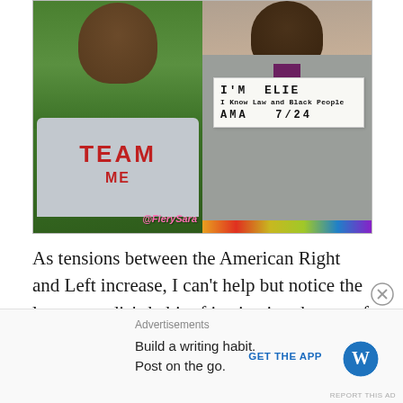[Figure (photo): Two-panel photo. Left: man in gray t-shirt reading 'TEAM ME' in red letters, standing in front of green foliage. Right: man in gray suit holding a handwritten sign reading 'I'M ELIE / I Know Law and Black People / AMA 7/24'. Watermark '@FierySara' in pink.]
As tensions between the American Right and Left increase, I can't help but notice the legacy media's habit of instigating the use of hateful, racist rhetoric, conventionally, mainly geared publically towards "straight, white, Republican men," has redirected to
Advertisements
Build a writing habit. Post on the go.
GET THE APP